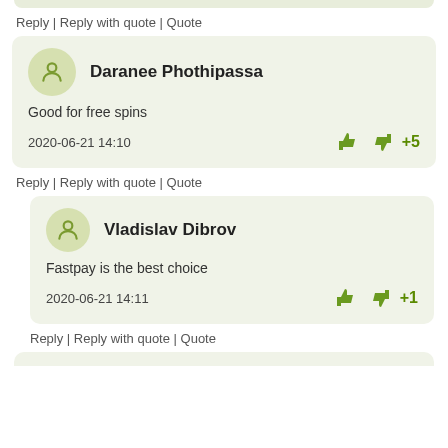Reply | Reply with quote | Quote
Daranee Phothipassa
Good for free spins
2020-06-21 14:10
+5
Reply | Reply with quote | Quote
Vladislav Dibrov
Fastpay is the best choice
2020-06-21 14:11
+1
Reply | Reply with quote | Quote